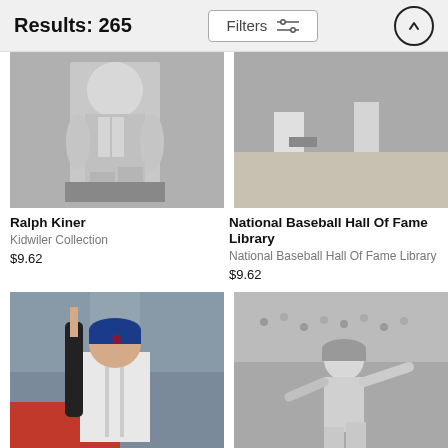Results: 265
[Figure (photo): Black and white photo of Ralph Kiner, baseball player, seated]
Ralph Kiner
Kidwiler Collection
$9.62
[Figure (photo): Black and white photo from National Baseball Hall Of Fame Library, player legs and shadow visible]
National Baseball Hall Of Fame Library
National Baseball Hall Of Fame Library
$9.62
[Figure (photo): Color photo of a Boston Red Sox player in uniform holding netting, batting practice]
[Figure (photo): Black and white photo of a baseball player pitching, vintage era]